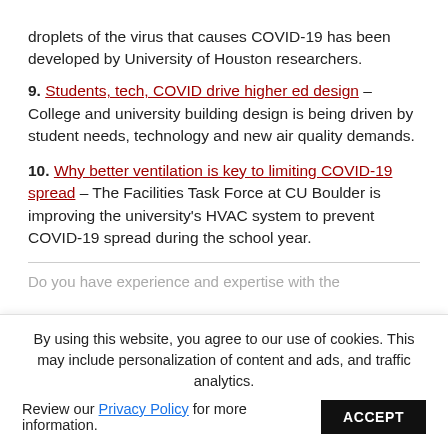droplets of the virus that causes COVID-19 has been developed by University of Houston researchers.
9. Students, tech, COVID drive higher ed design – College and university building design is being driven by student needs, technology and new air quality demands.
10. Why better ventilation is key to limiting COVID-19 spread – The Facilities Task Force at CU Boulder is improving the university's HVAC system to prevent COVID-19 spread during the school year.
Do you have experience and expertise with the
By using this website, you agree to our use of cookies. This may include personalization of content and ads, and traffic analytics. Review our Privacy Policy for more information. ACCEPT